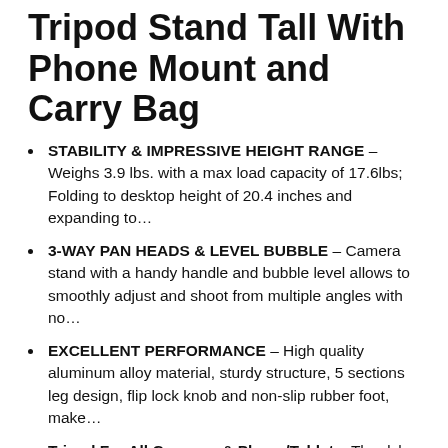Tripod Stand Tall With Phone Mount and Carry Bag
STABILITY & IMPRESSIVE HEIGHT RANGE – Weighs 3.9 lbs. with a max load capacity of 17.6lbs; Folding to desktop height of 20.4 inches and expanding to…
3-WAY PAN HEADS & LEVEL BUBBLE – Camera stand with a handy handle and bubble level allows to smoothly adjust and shoot from multiple angles with no…
EXCELLENT PERFORMANCE – High quality aluminum alloy material, sturdy structure, 5 sections leg design, flip lock knob and non-slip rubber foot, make…
Tripod For All Cameras & Phone/Tablet – The dslr tripod comes with a 1/4 quick release plate holds a smartphone as wide as 2.4 -3.7 and a tablet as…
WHAT YOU GET – 1x Tripod, 1x Tablet & Phone Holder, 1x Carry Bag, 1x User manual. We provide 30 days Free